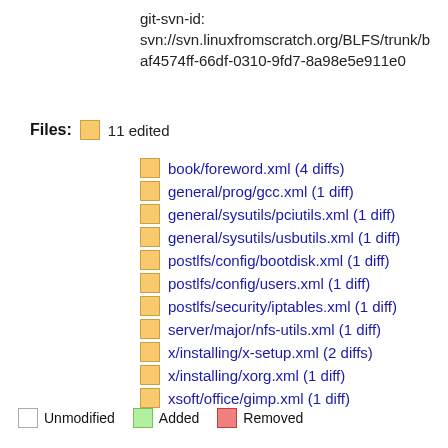git-svn-id: svn://svn.linuxfromscratch.org/BLFS/trunk/b af4574ff-66df-0310-9fd7-8a98e5e911e0
Files: 11 edited
book/foreword.xml (4 diffs)
general/prog/gcc.xml (1 diff)
general/sysutils/pciutils.xml (1 diff)
general/sysutils/usbutils.xml (1 diff)
postlfs/config/bootdisk.xml (1 diff)
postlfs/config/users.xml (1 diff)
postlfs/security/iptables.xml (1 diff)
server/major/nfs-utils.xml (1 diff)
x/installing/x-setup.xml (2 diffs)
x/installing/xorg.xml (1 diff)
xsoft/office/gimp.xml (1 diff)
Unmodified   Added   Removed